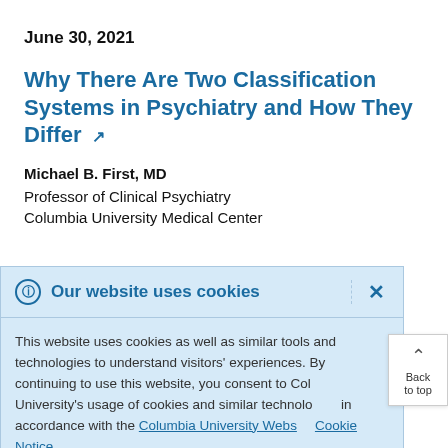June 30, 2021
Why There Are Two Classification Systems in Psychiatry and How They Differ
Michael B. First, MD
Professor of Clinical Psychiatry
Columbia University Medical Center
Our website uses cookies
This website uses cookies as well as similar tools and technologies to understand visitors' experiences. By continuing to use this website, you consent to Columbia University's usage of cookies and similar technologies in accordance with the Columbia University Website Cookie Notice.